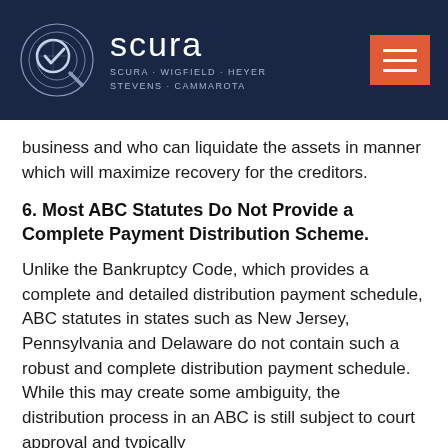scura — SCURA · WIGFIELD · HEYER STEVENS · CAMMAROTA
business and who can liquidate the assets in manner which will maximize recovery for the creditors.
6. Most ABC Statutes Do Not Provide a Complete Payment Distribution Scheme.
Unlike the Bankruptcy Code, which provides a complete and detailed distribution payment schedule, ABC statutes in states such as New Jersey, Pennsylvania and Delaware do not contain such a robust and complete distribution payment schedule. While this may create some ambiguity, the distribution process in an ABC is still subject to court approval and typically